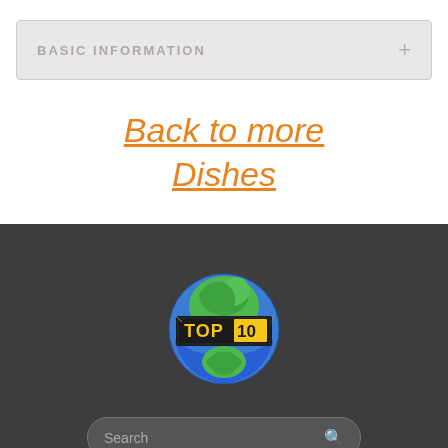BASIC INFORMATION
Back to more Dishes
[Figure (logo): TOP10 world globe logo with yellow TOP10 text on a dark rectangle overlaid on a blue and green globe]
Search